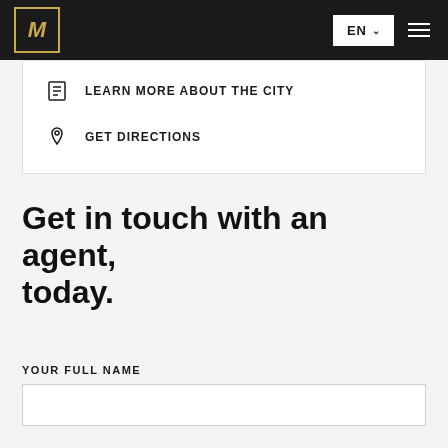M | EN | Navigation menu
LEARN MORE ABOUT THE CITY
GET DIRECTIONS
Get in touch with an agent, today.
YOUR FULL NAME